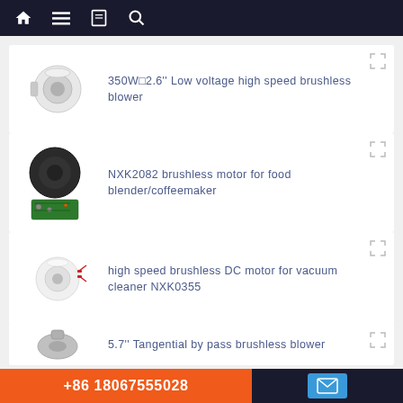Navigation bar with home, menu, book, search icons
[Figure (photo): Brushless blower motor product photo - white cylindrical motor]
350W□2.6'' Low voltage high speed brushless blower
[Figure (photo): NXK2082 brushless motor with circuit board - black disc motor]
NXK2082 brushless motor for food blender/coffeemaker
[Figure (photo): Brushless DC motor for vacuum cleaner - white cylindrical with red wires]
high speed brushless DC motor for vacuum cleaner NXK0355
[Figure (photo): Tangential bypass brushless blower - grey metal blower]
5.7'' Tangential by pass brushless blower
+86 18067555028